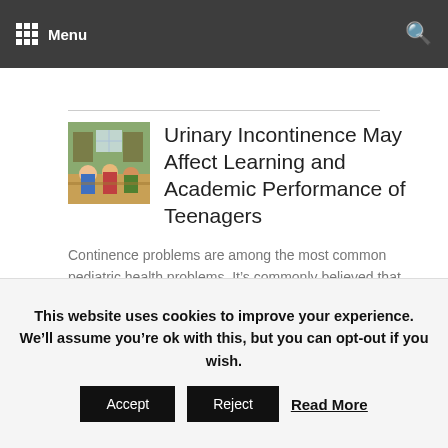Menu
Urinary Incontinence May Affect Learning and Academic Performance of Teenagers
Continence problems are among the most common pediatric health problems. It’s commonly believed that continence problems resolve with age in all children.  However, severe incontinence in childhood can persist into adolescence.  New research has found teenagers with incontinence are at greater risk of underachieving academically, and need more support to remove...
This website uses cookies to improve your experience. We’ll assume you’re ok with this, but you can opt-out if you wish.